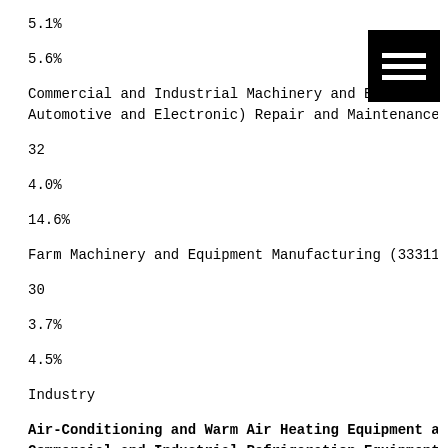5.1%
5.6%
Commercial and Industrial Machinery and Equipment (except Automotive and Electronic) Repair and Maintenance (81131
32
4.0%
14.6%
Farm Machinery and Equipment Manufacturing (333111)
30
3.7%
4.5%
Industry
Air-Conditioning and Warm Air Heating Equipment and Commercial and Industrial Refrigeration Equipment Manufacturing (333415)
Economic Modeling Specialists International | www.econom
6